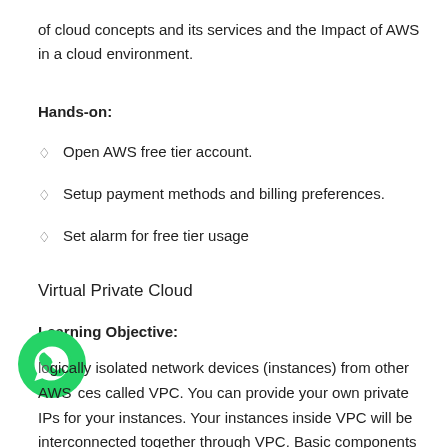of cloud concepts and its services and the Impact of AWS in a cloud environment.
Hands-on:
Open AWS free tier account.
Setup payment methods and billing preferences.
Set alarm for free tier usage
Virtual Private Cloud
Learning Objective:
Logically isolated network devices (instances) from other AWS services called VPC. You can provide your own private IPs for your instances. Your instances inside VPC will be interconnected together through VPC. Basic components of